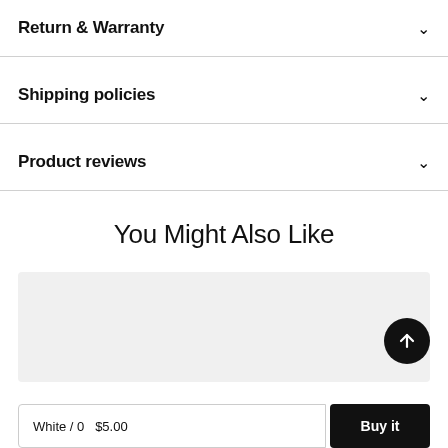Return & Warranty
Shipping policies
Product reviews
You Might Also Like
[Figure (other): Product image card placeholder (gray rectangle) with a black circular back-to-top arrow button in the lower right]
White / 0 ... $5.00
Buy it